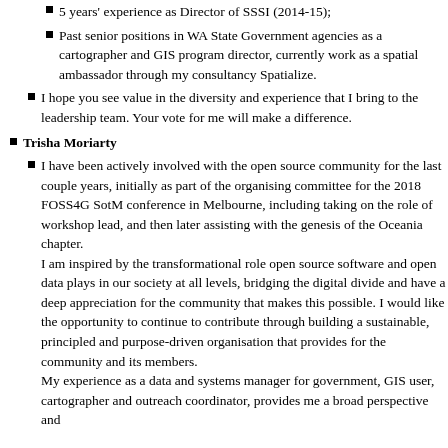5 years' experience as Director of SSSI (2014-15);
Past senior positions in WA State Government agencies as a cartographer and GIS program director, currently work as a spatial ambassador through my consultancy Spatialize.
I hope you see value in the diversity and experience that I bring to the leadership team. Your vote for me will make a difference.
Trisha Moriarty
I have been actively involved with the open source community for the last couple years, initially as part of the organising committee for the 2018 FOSS4G SotM conference in Melbourne, including taking on the role of workshop lead, and then later assisting with the genesis of the Oceania chapter.
I am inspired by the transformational role open source software and open data plays in our society at all levels, bridging the digital divide and have a deep appreciation for the community that makes this possible. I would like the opportunity to continue to contribute through building a sustainable, principled and purpose-driven organisation that provides for the community and its members.
My experience as a data and systems manager for government, GIS user, cartographer and outreach coordinator, provides me a broad perspective and